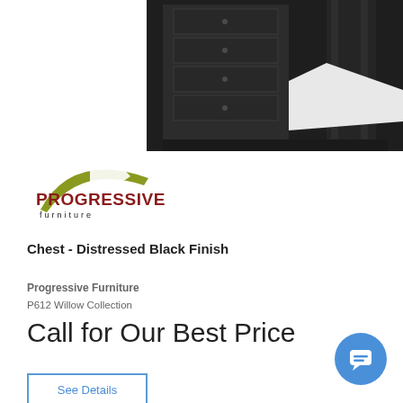[Figure (photo): Close-up photo of a dark distressed black chest/dresser furniture piece with drawer details and a white bedding visible]
[Figure (logo): Progressive Furniture logo with olive/gold arch shape, stylized P, red PROGRESSIVE text and black furniture text below]
Chest - Distressed Black Finish
Progressive Furniture
P612 Willow Collection
Call for Our Best Price
See Details